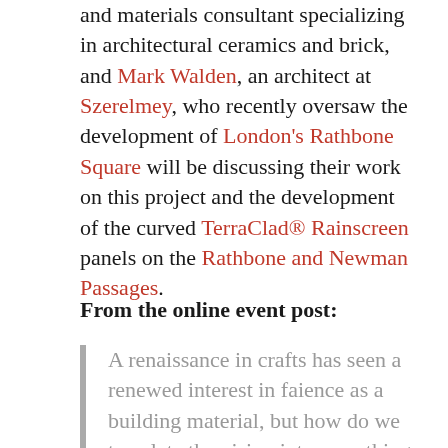and materials consultant specializing in architectural ceramics and brick, and Mark Walden, an architect at Szerelmey, who recently oversaw the development of London's Rathbone Square will be discussing their work on this project and the development of the curved TerraClad® Rainscreen panels on the Rathbone and Newman Passages.
From the online event post:
A renaissance in crafts has seen a renewed interest in faience as a building material, but how do we translate the vision into something that is buildable?